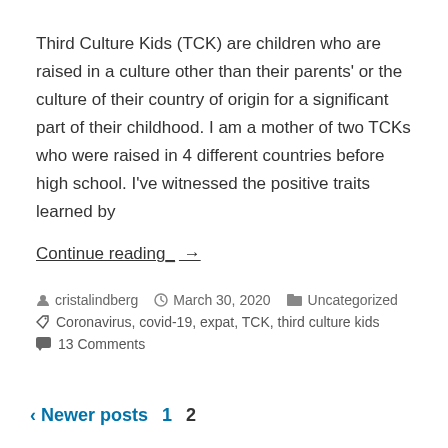Third Culture Kids (TCK) are children who are raised in a culture other than their parents' or the culture of their country of origin for a significant part of their childhood. I am a mother of two TCKs who were raised in 4 different countries before high school. I've witnessed the positive traits learned by
Continue reading_ →
cristalindberg   March 30, 2020   Uncategorized
Coronavirus, covid-19, expat, TCK, third culture kids
13 Comments
< Newer posts  1  2